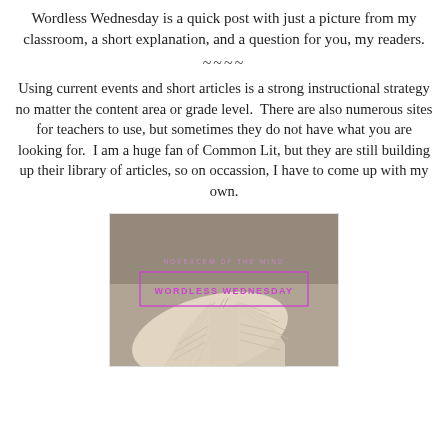Wordless Wednesday is a quick post with just a picture from my classroom, a short explanation, and a question for you, my readers.
~~~~
Using current events and short articles is a strong instructional strategy no matter the content area or grade level.  There are also numerous sites for teachers to use, but sometimes they do not have what you are looking for.  I am a huge fan of Common Lit, but they are still building up their library of articles, so on occassion, I have to come up with my own.
[Figure (illustration): A Wordless Wednesday blog graphic showing an open book with pages fanned, overlaid with text reading 'NOVEACEM OF THE MIND' and 'WORDLESS WEDNESDAY' in a pink/magenta outlined rectangle, on a muted sepia background.]